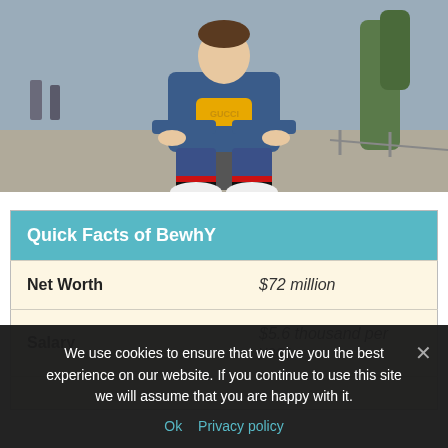[Figure (photo): Young man sitting on a metal bollard or post outdoors, wearing a blue Gucci-style jacket, patterned jeans, white sneakers, and a yellow Gucci fanny pack around his waist. Street scene with trees in background.]
| Quick Facts of BewhY |  |
| --- | --- |
| Net Worth | $72 million |
| Salary | $5.6 thousand per year |
We use cookies to ensure that we give you the best experience on our website. If you continue to use this site we will assume that you are happy with it.
Ok   Privacy policy